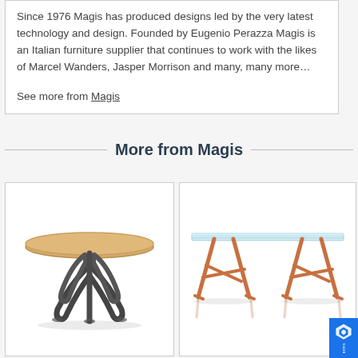Since 1976 Magis has produced designs led by the very latest technology and design. Founded by Eugenio Perazza Magis is an Italian furniture supplier that continues to work with the likes of Marcel Wanders, Jasper Morrison and many, many more...
See more from Magis
More from Magis
[Figure (photo): Round dining table with a natural wood top and dark metal spider-leg base, Magis product]
[Figure (photo): Rectangular glass-top table supported by two copper/rose-gold trestle-style sawhorse legs, Magis product]